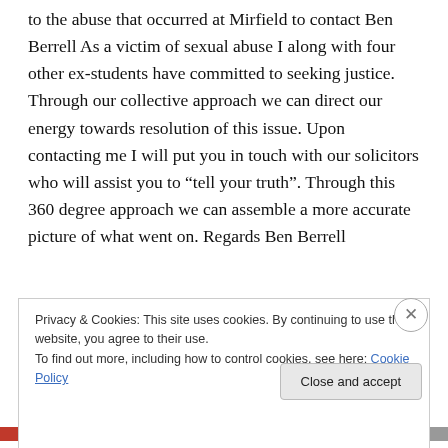to the abuse that occurred at Mirfield to contact Ben Berrell As a victim of sexual abuse I along with four other ex-students have committed to seeking justice. Through our collective approach we can direct our energy towards resolution of this issue. Upon contacting me I will put you in touch with our solicitors who will assist you to “tell your truth”. Through this 360 degree approach we can assemble a more accurate picture of what went on. Regards Ben Berrell
Privacy & Cookies: This site uses cookies. By continuing to use this website, you agree to their use.
To find out more, including how to control cookies, see here: Cookie Policy
Close and accept